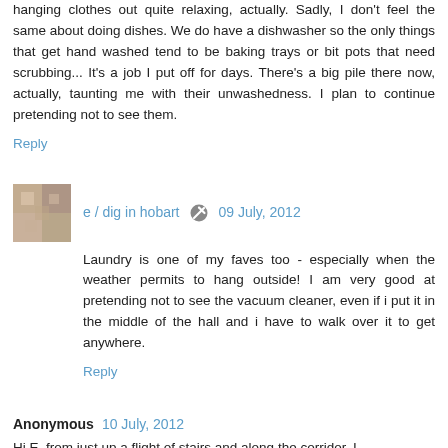hanging clothes out quite relaxing, actually. Sadly, I don't feel the same about doing dishes. We do have a dishwasher so the only things that get hand washed tend to be baking trays or bit pots that need scrubbing... It's a job I put off for days. There's a big pile there now, actually, taunting me with their unwashedness. I plan to continue pretending not to see them.
Reply
e / dig in hobart  09 July, 2012
Laundry is one of my faves too - especially when the weather permits to hang outside! I am very good at pretending not to see the vacuum cleaner, even if i put it in the middle of the hall and i have to walk over it to get anywhere.
Reply
Anonymous  10 July, 2012
Hi E, from just up a flight of stairs and along the corridor. I